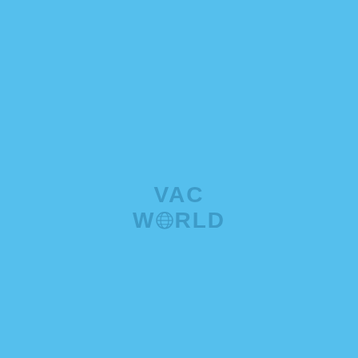[Figure (logo): VAC WORLD logo watermark centered slightly below middle of a solid sky-blue background. Text reads 'VAC' on first line and 'W[globe icon]RLD' on second line, in bold sans-serif, muted blue-gray color on the blue background.]